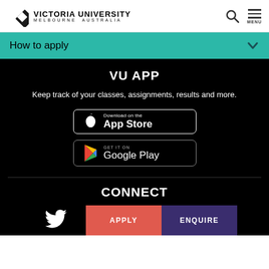Victoria University Melbourne Australia
How to apply
VU APP
Keep track of your classes, assignments, results and more.
[Figure (logo): Download on the App Store button]
[Figure (logo): Get it on Google Play button]
CONNECT
[Figure (logo): Twitter bird icon, APPLY button (orange), ENQUIRE button (purple)]